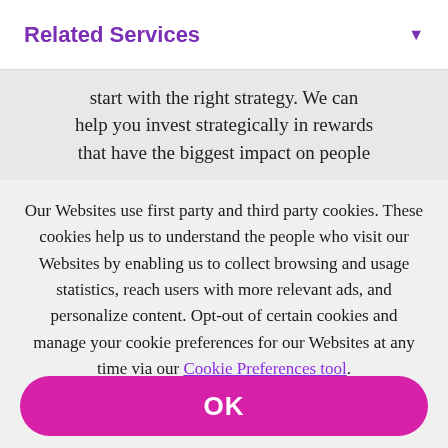Related Services
start with the right strategy. We can help you invest strategically in rewards that have the biggest impact on people
Our Websites use first party and third party cookies. These cookies help us to understand the people who visit our Websites by enabling us to collect browsing and usage statistics, reach users with more relevant ads, and personalize content. Opt-out of certain cookies and manage your cookie preferences for our Websites at any time via our Cookie Preferences tool.
Privacy Policy
OK